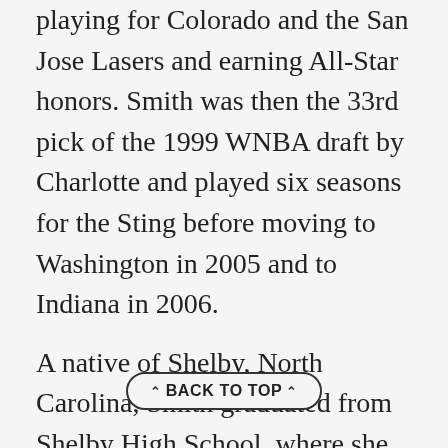playing for Colorado and the San Jose Lasers and earning All-Star honors. Smith was then the 33rd pick of the 1999 WNBA draft by Charlotte and played six seasons for the Sting before moving to Washington in 2005 and to Indiana in 2006.
A native of Shelby, North Carolina, Smith graduated from Shelby High School, where she earned all-state honors and was her team's MVP all four years. Smith completed her bachelor's degree in sociology at North Carolina in 1999. In May 2015, Smith was inducted into the North Carolina Sports Hall of Fame.